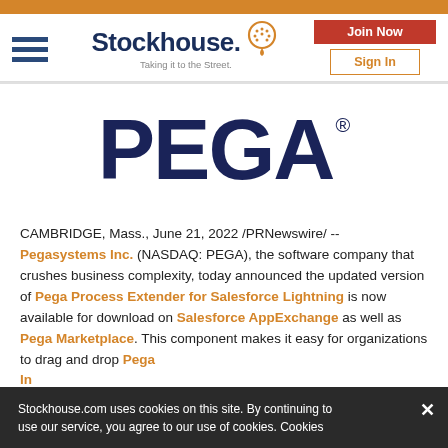Stockhouse – Taking it to the Street. [navigation bar with Join Now and Sign In buttons]
[Figure (logo): PEGA logo in dark navy blue large bold text with registered trademark symbol]
CAMBRIDGE, Mass., June 21, 2022 /PRNewswire/ -- Pegasystems Inc. (NASDAQ: PEGA), the software company that crushes business complexity, today announced the updated version of Pega Process Extender for Salesforce Lightning is now available for download on Salesforce AppExchange as well as Pega Marketplace. This component makes it easy for organizations to drag and drop Pega In... [truncated, cookie banner overlaps]
Stockhouse.com uses cookies on this site. By continuing to use our service, you agree to our use of cookies. Cookies